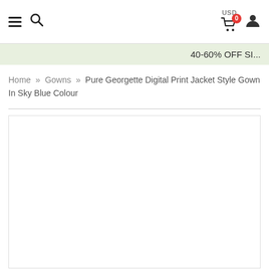USD 0 (cart) user icon
40-60% OFF SI...
Home » Gowns » Pure Georgette Digital Print Jacket Style Gown In Sky Blue Colour
[Figure (photo): Product image placeholder (white/empty box with border)]